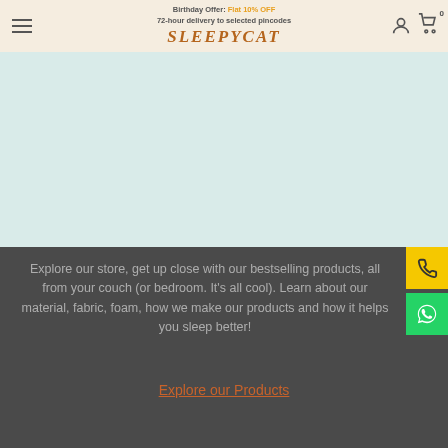Birthday Offer: Flat 10% OFF | 72-hour delivery to selected pincodes
[Figure (logo): SleepyCat logo in brown italic text]
[Figure (illustration): Light blue/teal hero section background]
Explore our store, get up close with our bestselling products, all from your couch (or bedroom. It's all cool). Learn about our material, fabric, foam, how we make our products and how it helps you sleep better!
Explore our Products